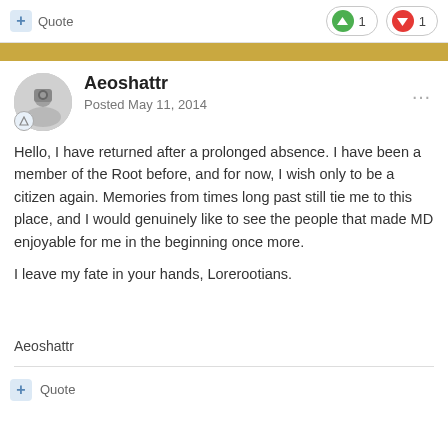+ Quote
↑ 1   ↓ 1
Aeoshattr
Posted May 11, 2014
Hello, I have returned after a prolonged absence. I have been a member of the Root before, and for now, I wish only to be a citizen again. Memories from times long past still tie me to this place, and I would genuinely like to see the people that made MD enjoyable for me in the beginning once more.

I leave my fate in your hands, Lorerootians.
Aeoshattr
+ Quote